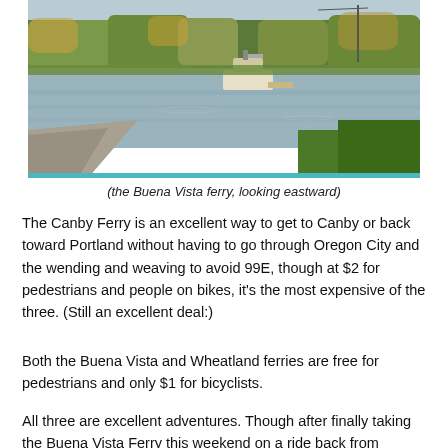[Figure (photo): A calm river scene with a small ferry boat docked at the far bank, surrounded by trees with autumn foliage and green grass in the foreground. A concrete boat ramp is visible in the lower left.]
(the Buena Vista ferry, looking eastward)
The Canby Ferry is an excellent way to get to Canby or back toward Portland without having to go through Oregon City and the wending and weaving to avoid 99E, though at $2 for pedestrians and people on bikes, it’s the most expensive of the three. (Still an excellent deal:)
Both the Buena Vista and Wheatland ferries are free for pedestrians and only $1 for bicyclists.
All three are excellent adventures. Though after finally taking the Buena Vista Ferry this weekend on a ride back from Corvallis, I have